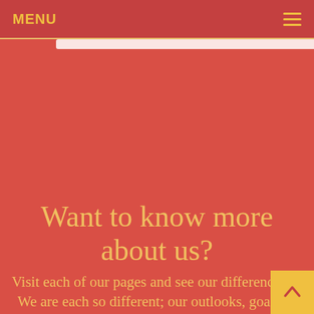MENU
Want to know more about us?
Visit each of our pages and see our differences. We are each so different; our outlooks, goals, and personalities. Many